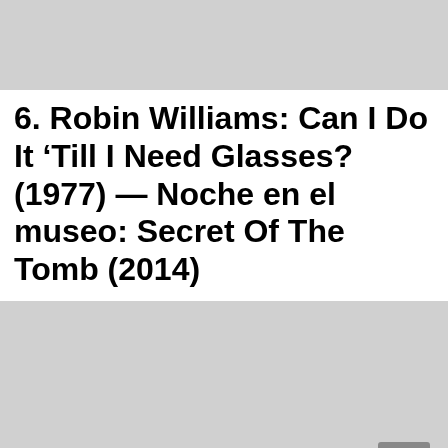[Figure (photo): Gray placeholder image block at top of page]
6. Robin Williams: Can I Do It ‘Till I Need Glasses? (1977) — Noche en el museo: Secret Of The Tomb (2014)
[Figure (photo): Gray placeholder image block at bottom of page with a scroll-to-top button in the lower right corner]